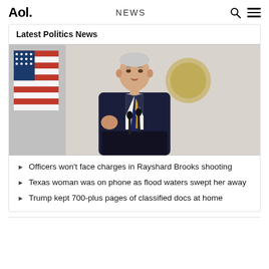Aol. | NEWS
Latest Politics News
[Figure (photo): A man in a dark suit with a striped blue and yellow tie stands at a podium with microphones, gesturing with hands. An American flag and a presidential seal flag are visible in the background.]
Officers won't face charges in Rayshard Brooks shooting
Texas woman was on phone as flood waters swept her away
Trump kept 700-plus pages of classified docs at home